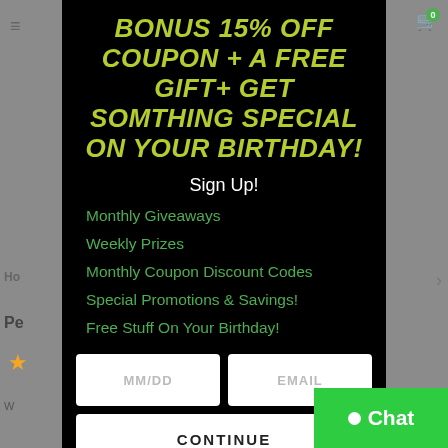BONUS 15% OFF COUPON + A FREE GIFT+ GET SOMTHING SPECIAL ON YOUR BIRTHDAY!
Sign Up!
Monthly Giveaways
Weekly Prizes
Monthly Coupon Discount Codes
Special Promotions & Savings!
Free Stuff On Your Birthday!
MM/DD | EMAIL | CONTINUE